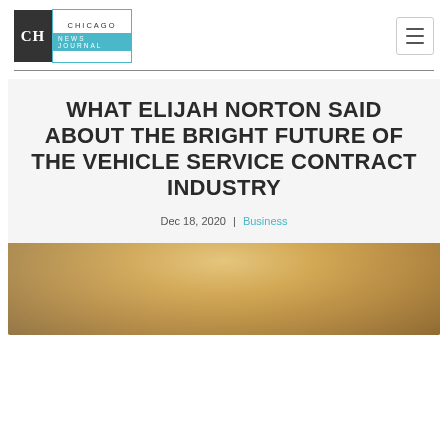CH CHICAGO NEWS JOURNAL
WHAT ELIJAH NORTON SAID ABOUT THE BRIGHT FUTURE OF THE VEHICLE SERVICE CONTRACT INDUSTRY
Dec 18, 2020 | Business
[Figure (photo): Photograph of a person, partially visible at the bottom of the page, backlit with warm light]